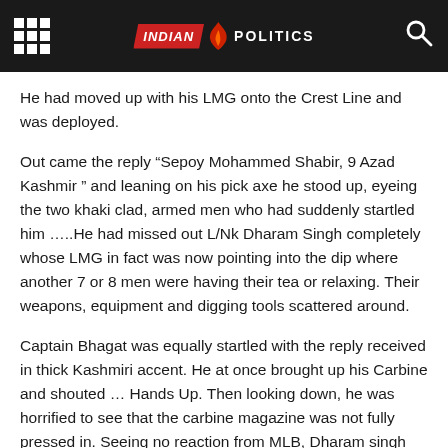INDIAN POLITICS
He had moved up with his LMG onto the Crest Line and was deployed.
Out came the reply “Sepoy Mohammed Shabir, 9 Azad Kashmir ” and leaning on his pick axe he stood up, eyeing the two khaki clad, armed men who had suddenly startled him …..He had missed out L/Nk Dharam Singh completely whose LMG in fact was now pointing into the dip where another 7 or 8 men were having their tea or relaxing. Their weapons, equipment and digging tools scattered around.
Captain Bhagat was equally startled with the reply received in thick Kashmiri accent. He at once brought up his Carbine and shouted … Hands Up. Then looking down, he was horrified to see that the carbine magazine was not fully pressed in. Seeing no reaction from MLB, Dharam singh cocked his LMG and fired…..there was just a loud click, the first round was a misfire. Then various things though